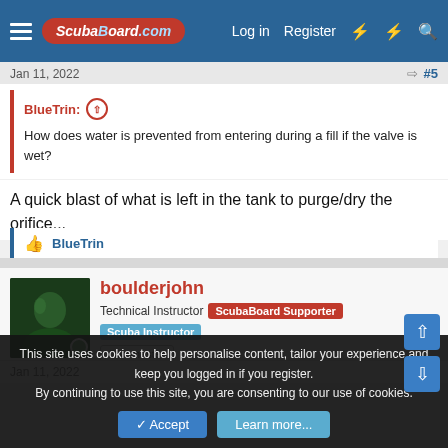ScubaBoard.com — Log in | Register
Jan 11, 2022  #5
BlueTrin: How does water is prevented from entering during a fill if the valve is wet?
A quick blast of what is left in the tank to purge/dry the orifice...
👍 BlueTrin
boulderjohn — Technical Instructor | ScubaBoard Supporter | Scuba Instructor | Divemaster
Jan 11, 2022  #6
This site uses cookies to help personalise content, tailor your experience and keep you logged in if you register. By continuing to use this site, you are consenting to our use of cookies.